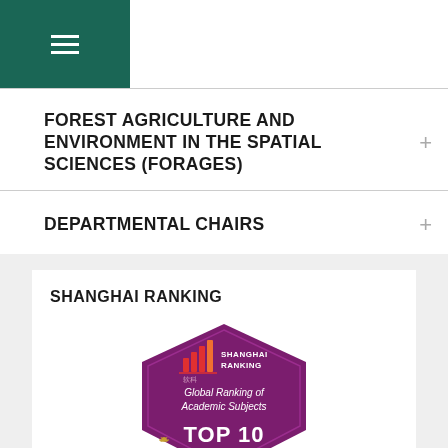[Figure (logo): Dark green navigation bar with hamburger menu icon (three white horizontal lines)]
FOREST AGRICULTURE AND ENVIRONMENT IN THE SPATIAL SCIENCES (FORAGES)
DEPARTMENTAL CHAIRS
SHANGHAI RANKING
[Figure (illustration): Shanghai Ranking badge - hexagonal purple/magenta badge with Shanghai Ranking logo, text 'Global Ranking of Academic Subjects' and 'TOP 10' with laurel decorations, orange accent at bottom]